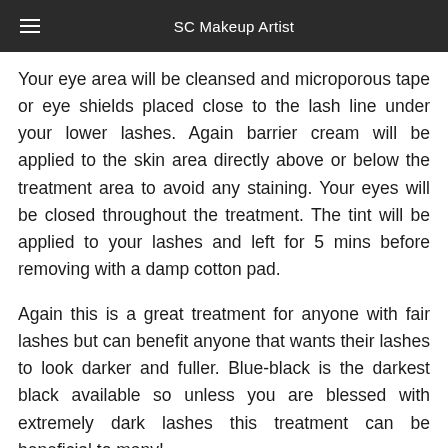SC Makeup Artist
Your eye area will be cleansed and microporous tape or eye shields placed close to the lash line under your lower lashes. Again barrier cream will be applied to the skin area directly above or below the treatment area to avoid any staining. Your eyes will be closed throughout the treatment. The tint will be applied to your lashes and left for 5 mins before removing with a damp cotton pad.
Again this is a great treatment for anyone with fair lashes but can benefit anyone that wants their lashes to look darker and fuller. Blue-black is the darkest black available so unless you are blessed with extremely dark lashes this treatment can be beneficial to many!
Lash perm